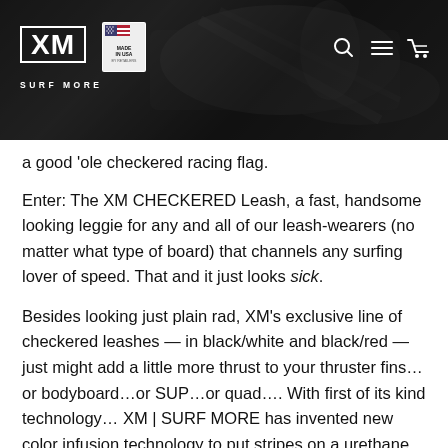[Figure (screenshot): XM Surf More website header with dark background showing mechanical/equipment imagery, XM logo with SURF MORE text, Made in USA badge, and navigation icons (search, menu, cart)]
a good ‘ole checkered racing flag.
Enter: The XM CHECKERED Leash, a fast, handsome looking leggie for any and all of our leash-wearers (no matter what type of board) that channels any surfing lover of speed. That and it just looks sick.
Besides looking just plain rad, XM’s exclusive line of checkered leashes — in black/white and black/red — just might add a little more thrust to your thruster fins…or bodyboard…or SUP…or quad….  With first of its kind technology…  XM | SURF MORE has invented new color infusion technology to put stripes on a urethane leash cord in a way that has never been done before. This new